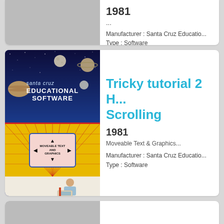1981
...
Manufacturer : Santa Cruz Educatio...
Type : Software
[Figure (photo): Santa Cruz Educational Software box cover for Tricky Tutorial #2 Horizontal and Vertical Scrolling, showing space background with planets and a yellow grid perspective scene with moveable text and graphics arrows, and a person using a computer at the bottom.]
Tricky tutorial 2 H... Scrolling
1981
Moveable Text & Graphics...
Manufacturer : Santa Cruz Educatio...
Type : Software